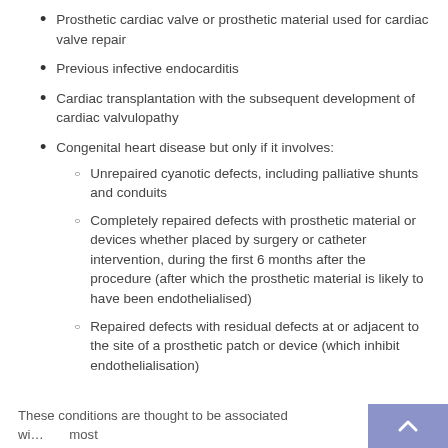Prosthetic cardiac valve or prosthetic material used for cardiac valve repair
Previous infective endocarditis
Cardiac transplantation with the subsequent development of cardiac valvulopathy
Congenital heart disease but only if it involves:
Unrepaired cyanotic defects, including palliative shunts and conduits
Completely repaired defects with prosthetic material or devices whether placed by surgery or catheter intervention, during the first 6 months after the procedure (after which the prosthetic material is likely to have been endothelialised)
Repaired defects with residual defects at or adjacent to the site of a prosthetic patch or device (which inhibit endothelialisation)
These conditions are thought to be associated wi… most